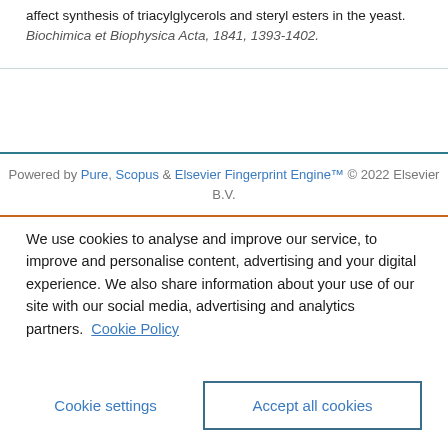affect synthesis of triacylglycerols and steryl esters in the yeast. Biochimica et Biophysica Acta, 1841, 1393-1402.
Powered by Pure, Scopus & Elsevier Fingerprint Engine™ © 2022 Elsevier B.V.
We use cookies to analyse and improve our service, to improve and personalise content, advertising and your digital experience. We also share information about your use of our site with our social media, advertising and analytics partners. Cookie Policy
Cookie settings | Accept all cookies